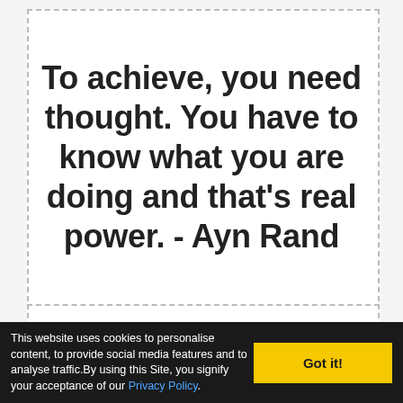To achieve, you need thought. You have to know what you are doing and that's real power. - Ayn Rand
All of you need to ever...
This website uses cookies to personalise content, to provide social media features and to analyse traffic.By using this Site, you signify your acceptance of our Privacy Policy.